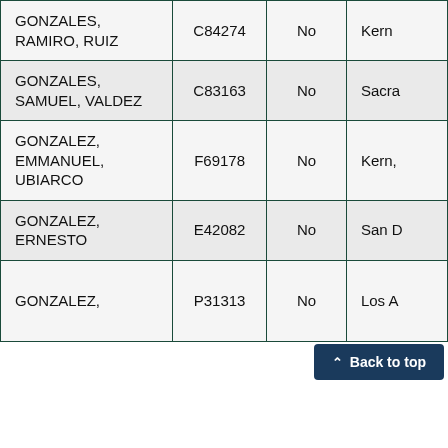| Name | Case Number | Status | County |
| --- | --- | --- | --- |
| GONZALES, RAMIRO, RUIZ | C84274 | No | Kern |
| GONZALES, SAMUEL, VALDEZ | C83163 | No | Sacra |
| GONZALEZ, EMMANUEL, UBIARCO | F69178 | No | Kern, |
| GONZALEZ, ERNESTO | E42082 | No | San D |
| GONZALEZ, | P31313 | No | Los A |